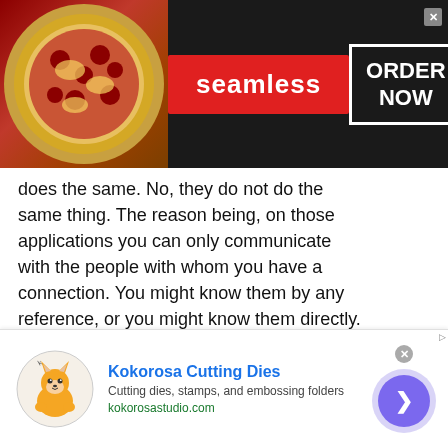[Figure (screenshot): Seamless food delivery advertisement banner with pizza image on left, red Seamless button in center, and white ORDER NOW box on right, dark background]
does the same. No, they do not do the same thing. The reason being, on those applications you can only communicate with the people with whom you have a connection. You might know them by any reference, or you might know them directly. However, if you wish to talk to a stranger through those platforms, say you want to video chat with random people of Greece or simply want to chat with the people of Greece. This thing is not possible on those applications.
[Figure (screenshot): Kokorosa Cutting Dies advertisement with logo, company name in blue bold, tagline 'Cutting dies, stamps, and embossing folders', website kokorosastudio.com, and purple arrow button on right]